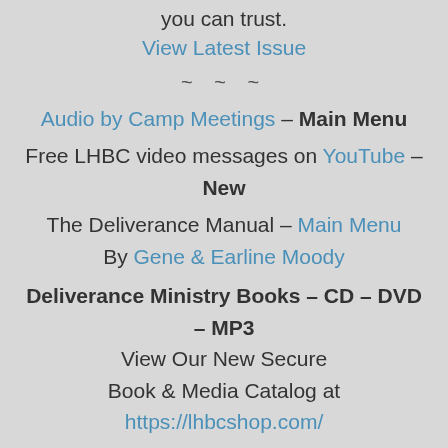you can trust.
View Latest Issue
~ ~ ~
Audio by Camp Meetings – Main Menu
Free LHBC video messages on YouTube – New
The Deliverance Manual – Main Menu
By Gene & Earline Moody
Deliverance Ministry Books – CD – DVD – MP3
View Our New Secure
Book & Media Catalog at
https://lhbcshop.com/
LHBC DVD list in PDF format New
How To Get Set Free Listening Online
~ ~ ~
The 1989 Camp Memorial Day Meeting